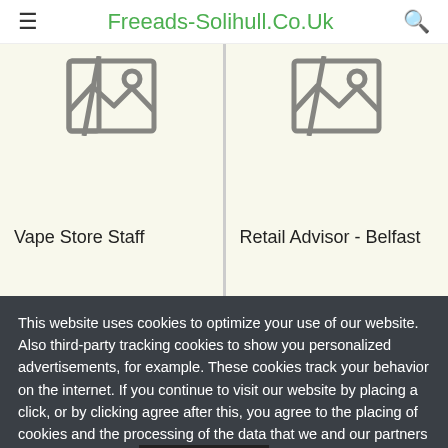≡  Freeads-Solihull.Co.Uk  🔍
[Figure (illustration): Broken image placeholder icon for Vape Store Staff listing]
Vape Store Staff
[Figure (illustration): Broken image placeholder icon for Retail Advisor - Belfast listing]
Retail Advisor - Belfast
This website uses cookies to optimize your use of our website. Also third-party tracking cookies to show you personalized advertisements, for example. These cookies track your behavior on the internet. If you continue to visit our website by placing a click, or by clicking agree after this, you agree to the placing of cookies and the processing of the data that we and our partners obtain as a result. More information OK